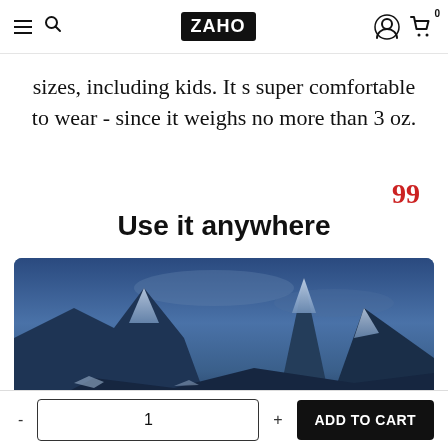ZAHO — navigation bar with hamburger menu, search, logo, user icon, cart (0)
sizes, including kids. It s super comfortable to wear - since it weighs no more than 3 oz.
Use it anywhere
[Figure (photo): Mountain landscape at dusk/twilight with snow-covered peaks and dark blue sky]
- 1 + ADD TO CART